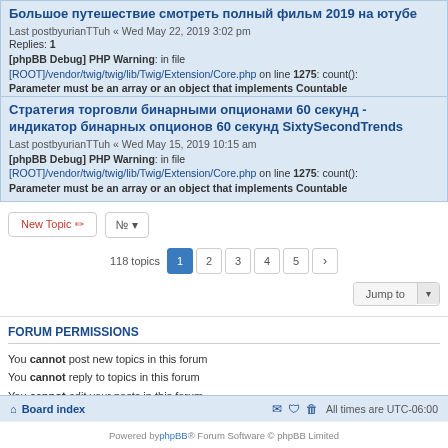Большое путешествие смотреть полный фильм 2019 на ютубе
Last postbyurianTTuh « Wed May 22, 2019 3:02 pm
Replies: 1
[phpBB Debug] PHP Warning: in file [ROOT]/vendor/twig/twig/lib/Twig/Extension/Core.php on line 1275: count(): Parameter must be an array or an object that implements Countable
Стратегия торговли бинарными опционами 60 секунд - индикатор бинарных опционов 60 секунд SixtySecondTrends
Last postbyurianTTuh « Wed May 15, 2019 10:15 am
[phpBB Debug] PHP Warning: in file [ROOT]/vendor/twig/twig/lib/Twig/Extension/Core.php on line 1275: count(): Parameter must be an array or an object that implements Countable
New Topic | Sort | 118 topics | 1 2 3 4 5 > | Jump to
FORUM PERMISSIONS
You cannot post new topics in this forum
You cannot reply to topics in this forum
You cannot edit your posts in this forum
You cannot delete your posts in this forum
You cannot post attachments in this forum
Board index | All times are UTC-06:00
Powered by phpBB® Forum Software © phpBB Limited